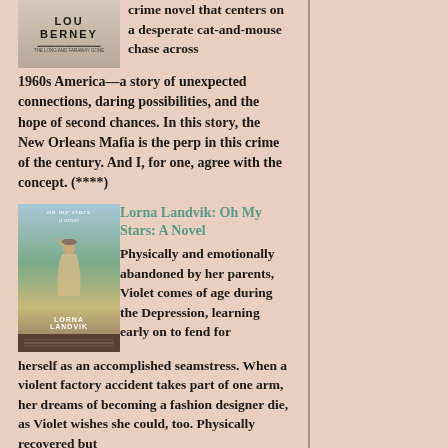crime novel that centers on a desperate cat-and-mouse chase across 1960s America—a story of unexpected connections, daring possibilities, and the hope of second chances. In this story, the New Orleans Mafia is the perp in this crime of the century. And I, for one, agree with the concept. (****)
[Figure (illustration): Book cover for Oh My Stars by Lorna Landvik - shows a woman in a dress from behind against a countryside background]
Lorna Landvik: Oh My Stars: A Novel
Physically and emotionally abandoned by her parents, Violet comes of age during the Depression, learning early on to fend for herself as an accomplished seamstress. When a violent factory accident takes part of one arm, her dreams of becoming a fashion designer die, as Violet wishes she could, too. Physically recovered but emotionally bereft, Violet boards a...